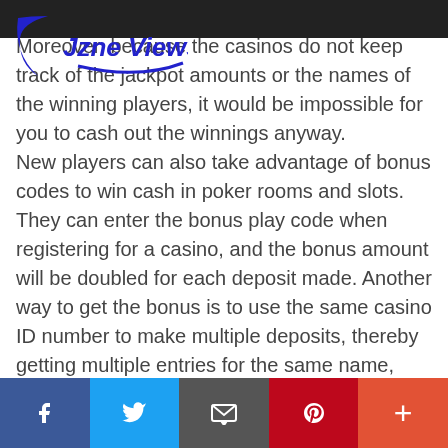[Figure (logo): Jzne Views logo with blue swoosh/crescent shape and italic text]
Moreover, because the casinos do not keep track of the jackpot amounts or the names of the winning players, it would be impossible for you to cash out the winnings anyway. New players can also take advantage of bonus codes to win cash in poker rooms and slots. They can enter the bonus play code when registering for a casino, and the bonus amount will be doubled for each deposit made. Another way to get the bonus is to use the same casino ID number to make multiple deposits, thereby getting multiple entries for the same name,
[Figure (infographic): Social sharing bar at the bottom with Facebook (blue), Twitter (light blue), Email (dark grey), Pinterest (red), and Plus/More (orange-red) buttons]